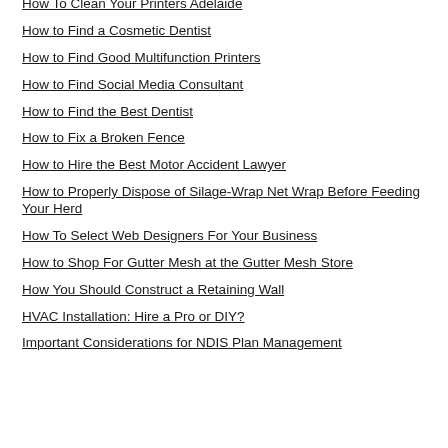How To Clean Your Printers Adelaide
How to Find a Cosmetic Dentist
How to Find Good Multifunction Printers
How to Find Social Media Consultant
How to Find the Best Dentist
How to Fix a Broken Fence
How to Hire the Best Motor Accident Lawyer
How to Properly Dispose of Silage-Wrap Net Wrap Before Feeding Your Herd
How To Select Web Designers For Your Business
How to Shop For Gutter Mesh at the Gutter Mesh Store
How You Should Construct a Retaining Wall
HVAC Installation: Hire a Pro or DIY?
Important Considerations for NDIS Plan Management